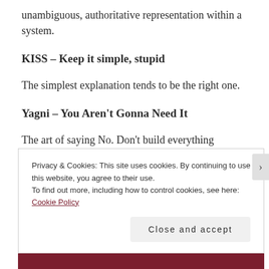unambiguous, authoritative representation within a system.
KISS – Keep it simple, stupid
The simplest explanation tends to be the right one.
Yagni – You Aren't Gonna Need It
The art of saying No. Don't build everything customer/manager ask. Think more than twice and
Privacy & Cookies: This site uses cookies. By continuing to use this website, you agree to their use.
To find out more, including how to control cookies, see here: Cookie Policy
Close and accept